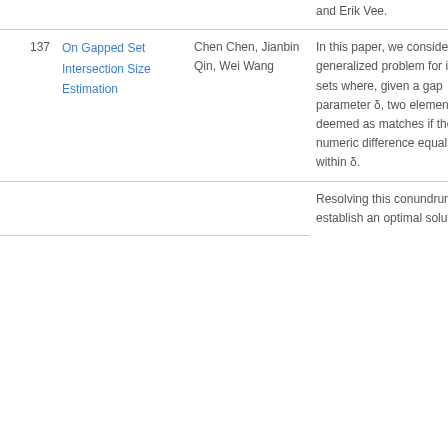| # | Title | Authors | Abstract |
| --- | --- | --- | --- |
|  |  |  | and Erik Vee. |
| 137 | On Gapped Set Intersection Size Estimation | Chen Chen, Jianbin Qin, Wei Wang | In this paper, we consider a generalized problem for integer sets where, given a gap parameter δ, two elements are deemed as matches if their numeric difference equals δ or is within δ. |
|  |  |  | Resolving this conundrum we establish an optimal solution by |